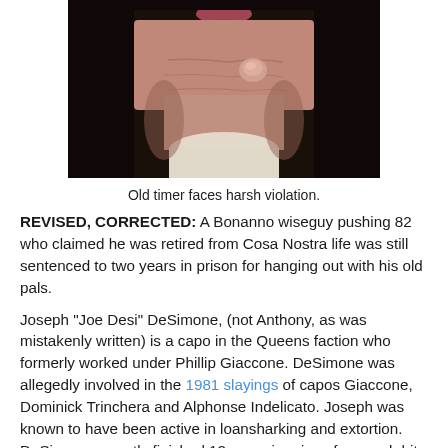[Figure (photo): Close-up photograph of an elderly man's face/neck area, showing aged skin with a visible growth on the chin/jaw area. The photo is cropped showing from nose down to upper chest.]
Old timer faces harsh violation.
REVISED, CORRECTED: A Bonanno wiseguy pushing 82 who claimed he was retired from Cosa Nostra life was still sentenced to two years in prison for hanging out with his old pals.
Joseph "Joe Desi" DeSimone, (not Anthony, as was mistakenly written) is a capo in the Queens faction who formerly worked under Phillip Giaccone. DeSimone was allegedly involved in the 1981 slayings of capos Giaccone, Dominick Trinchera and Alphonse Indelicato. Joseph was known to have been active in loansharking and extortion. DeSimone recently finished 12 years in prison for a mob hit, and his defense attorney had been famous for a stint as...